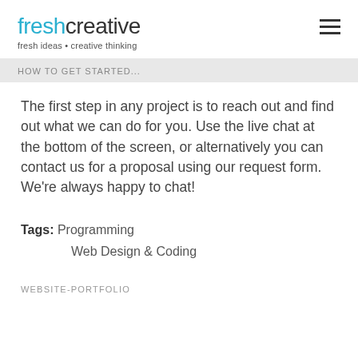freshcreative
fresh ideas • creative thinking
HOW TO GET STARTED...
The first step in any project is to reach out and find out what we can do for you. Use the live chat at the bottom of the screen, or alternatively you can contact us for a proposal using our request form. We're always happy to chat!
Tags: Programming
Web Design & Coding
WEBSITE-PORTFOLIO